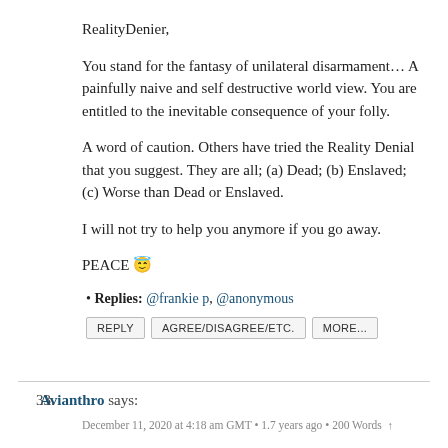RealityDenier,
You stand for the fantasy of unilateral disarmament… A painfully naive and self destructive world view. You are entitled to the inevitable consequence of your folly.
A word of caution. Others have tried the Reality Denial that you suggest. They are all; (a) Dead; (b) Enslaved; (c) Worse than Dead or Enslaved.
I will not try to help you anymore if you go away.
PEACE 😇
Replies: @frankie p, @anonymous
REPLY   AGREE/DISAGREE/ETC.   MORE...
33. Avianthro says:
December 11, 2020 at 4:18 am GMT • 1.7 years ago • 200 Words ↑